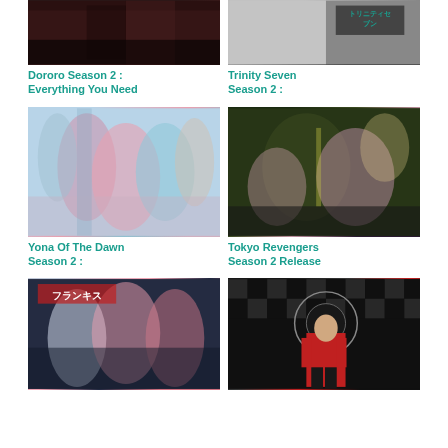[Figure (illustration): Dororo Season 2 anime thumbnail image - dark toned]
Dororo Season 2 : Everything You Need
[Figure (illustration): Trinity Seven Season 2 anime thumbnail with Japanese text]
Trinity Seven Season 2 :
[Figure (illustration): Yona Of The Dawn Season 2 anime group illustration - colorful characters]
Yona Of The Dawn Season 2 :
[Figure (illustration): Tokyo Revengers Season 2 Release anime illustration - dark action]
Tokyo Revengers Season 2 Release
[Figure (illustration): Bottom left anime illustration - girls with red text]
[Figure (illustration): Bottom right anime illustration - figure in red suit checkered background]